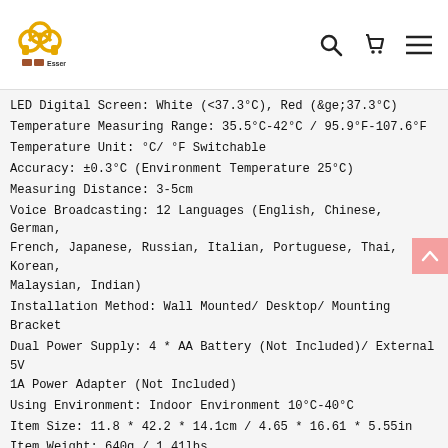BG Essential — logo header with search, cart, and menu icons
LED Digital Screen: White (<37.3°C), Red (&ge;37.3°C)
Temperature Measuring Range: 35.5°C-42°C / 95.9°F-107.6°F
Temperature Unit: °C/ °F Switchable
Accuracy: ±0.3°C (Environment Temperature 25°C)
Measuring Distance: 3-5cm
Voice Broadcasting: 12 Languages (English, Chinese, German, French, Japanese, Russian, Italian, Portuguese, Thai, Korean, Malaysian, Indian)
Installation Method: Wall Mounted/ Desktop/ Mounting Bracket
Dual Power Supply: 4 * AA Battery (Not Included)/ External 5V 1A Power Adapter (Not Included)
Using Environment: Indoor Environment 10°C-40°C
Item Size: 11.8 * 42.2 * 14.1cm / 4.65 * 16.61 * 5.55in
Item Weight: 640g / 1.41lbs
Package Size: 14.7 * 15.2 * 27.5cm / 5.79 * 5.98 * 10.8in
Package Weight: 1002g / 2.21lbs